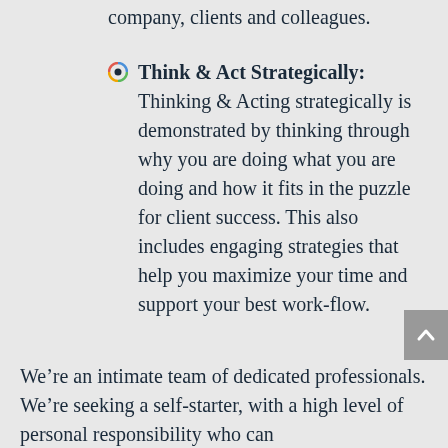company, clients and colleagues.
Think & Act Strategically: Thinking & Acting strategically is demonstrated by thinking through why you are doing what you are doing and how it fits in the puzzle for client success. This also includes engaging strategies that help you maximize your time and support your best work-flow.
We’re an intimate team of dedicated professionals. We’re seeking a self-starter, with a high level of personal responsibility who can